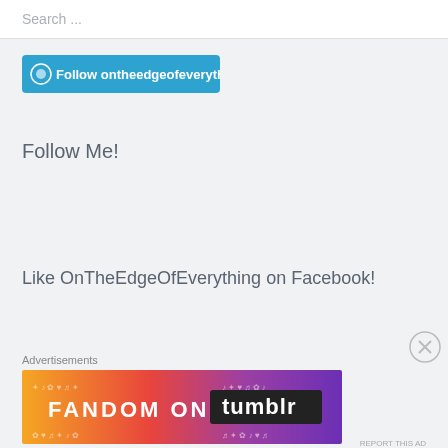Search ...
[Figure (other): WordPress Follow button: Follow ontheedgeofeverything]
Follow Me!
Like OnTheEdgeOfEverything on Facebook!
Advertisements
[Figure (other): Fandom on Tumblr advertisement banner with colorful gradient background]
REPORT THIS AD